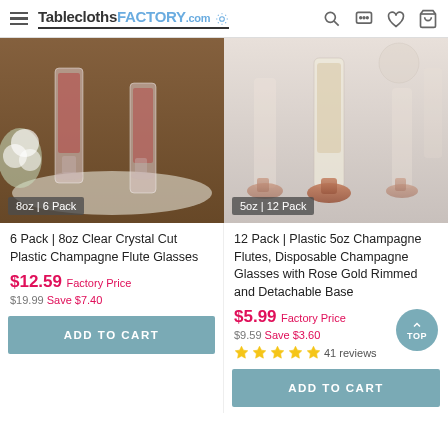TableclothsFACTORY.com
[Figure (photo): Clear crystal cut plastic champagne flute glasses with red liquid, white flowers, and wooden background. Badge reads: 8oz | 6 Pack]
6 Pack | 8oz Clear Crystal Cut Plastic Champagne Flute Glasses
$12.59 Factory Price $19.99 Save $7.40
ADD TO CART
[Figure (photo): Rose gold rimmed champagne flutes on light background. Badge reads: 5oz | 12 Pack]
12 Pack | Plastic 5oz Champagne Flutes, Disposable Champagne Glasses with Rose Gold Rimmed and Detachable Base
$5.99 Factory Price $9.59 Save $3.60
41 reviews
ADD TO CART